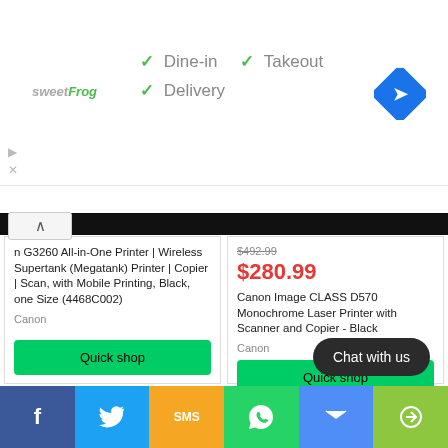[Figure (screenshot): sweetFrog logo]
✓ Dine-in  ✓ Takeout
✓ Delivery
[Figure (logo): Blue diamond navigation icon]
n G3260 All-in-One Printer | Wireless Supertank (Megatank) Printer | Copier | Scan, with Mobile Printing, Black, one Size (4468C002)
Canon
$492.99
$280.99
Canon Image CLASS D570 Monochrome Laser Printer with Scanner and Copier - Black
Canon
Quick shop
Quick shop
Chat with us
f
SMS
[Figure (screenshot): Social sharing bar with Facebook, Twitter, SMS, WhatsApp, Messenger, Share icons]